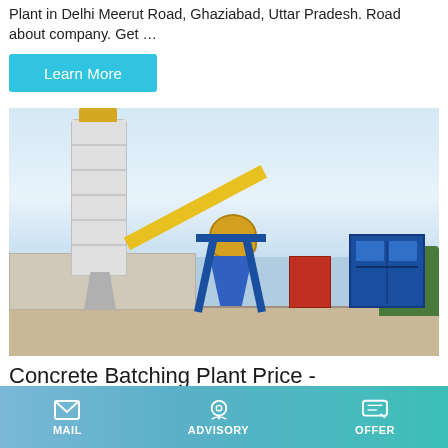Plant in Delhi Meerut Road, Ghaziabad, Uttar Pradesh. Road about company. Get …
Learn More
[Figure (photo): Concrete batching plant with tall white silo, yellow conveyor arm, yellow mixer drum on blue frame structure, blue control container, and red structures in background, outdoor industrial setting.]
Concrete Batching Plant Price -
Provided By Concrete Plant
MAIL   ADVISORY   OFFER